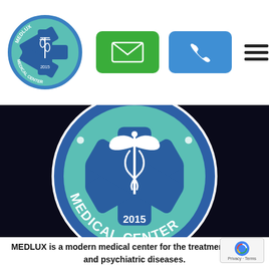[Figure (logo): Medlux Medical Center circular logo with star of life and caduceus symbol, small version in nav bar]
[Figure (logo): Green email button icon in navigation bar]
[Figure (logo): Blue phone button icon in navigation bar]
[Figure (logo): Hamburger menu icon (three horizontal lines) in navigation bar]
[Figure (logo): Large Medlux Medical Center circular logo on dark blue background, featuring star of life, caduceus symbol, text 'MEDICAL CENTER' and '2015']
MEDLUX is a modern medical center for the treatment of drug and psychiatric diseases.
[Figure (logo): reCAPTCHA badge with Privacy - Terms text]